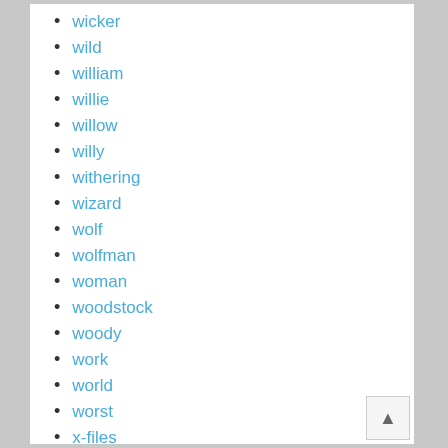wicker
wild
william
willie
willow
willy
withering
wizard
wolf
wolfman
woman
woodstock
woody
work
world
worst
x-files
yord